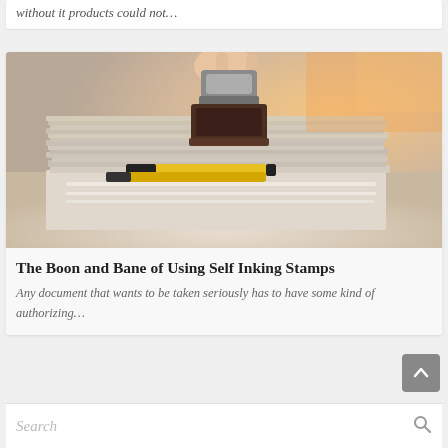without it products could not…
[Figure (photo): A hand holding a rubber self-inking stamp pressed down onto a large stack of papers and documents, with yellow and black pens visible in the pile. Warm orange light in the background.]
The Boon and Bane of Using Self Inking Stamps
Any document that wants to be taken seriously has to have some kind of authorizing…
Search